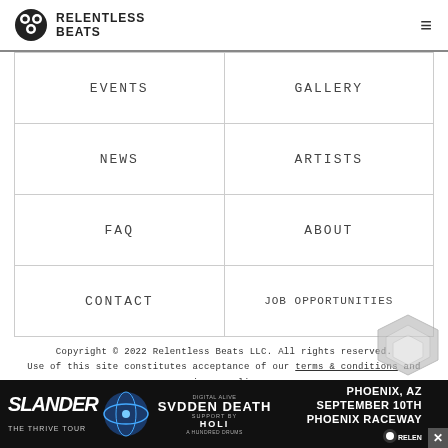RELENTLESS BEATS
EVENTS
GALLERY
NEWS
ARTISTS
FAQ
ABOUT
CONTACT
JOB OPPORTUNITIES
Copyright © 2022 Relentless Beats LLC. All rights reserved. Use of this site constitutes acceptance of our terms & conditions and privacy policy.
[Figure (screenshot): Advertisement banner for Slander - The Thrive Tour featuring Svdden Death, Holi, A Hundred Drums at Phoenix Raceway, Phoenix AZ, September 10th]